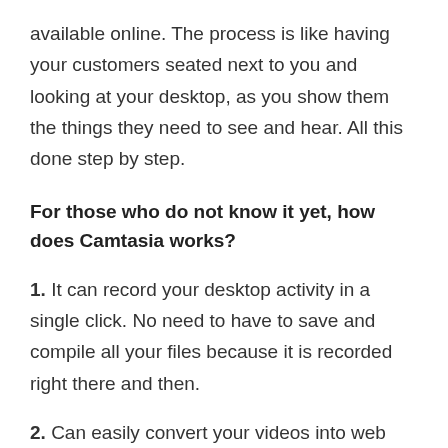available online. The process is like having your customers seated next to you and looking at your desktop, as you show them the things they need to see and hear. All this done step by step.
For those who do not know it yet, how does Camtasia works?
1. It can record your desktop activity in a single click. No need to have to save and compile all your files because it is recorded right there and then.
2. Can easily convert your videos into web pages. Once converted you can have your customers visiting that certain page. Videos are easier to understand and take